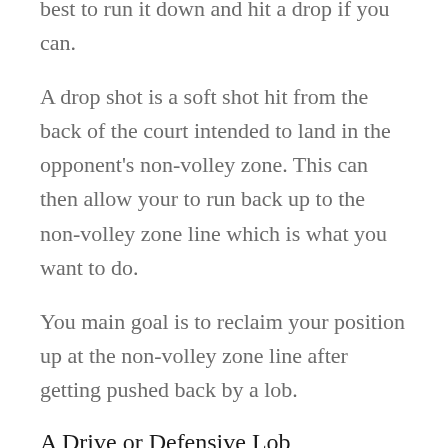best to run it down and hit a drop if you can.
A drop shot is a soft shot hit from the back of the court intended to land in the opponent's non-volley zone. This can then allow your to run back up to the non-volley zone line which is what you want to do.
You main goal is to reclaim your position up at the non-volley zone line after getting pushed back by a lob.
A Drive or Defensive Lob